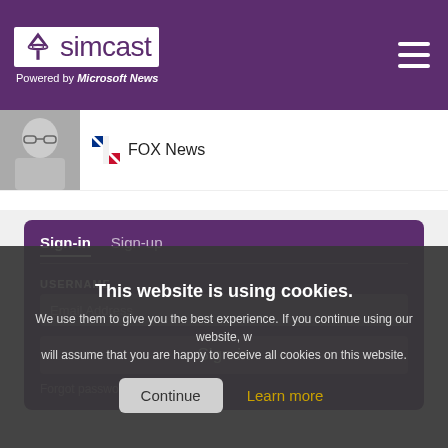simcast — Powered by Microsoft News
[Figure (screenshot): News thumbnail showing a woman's face, with FOX News logo and label beside it]
[Figure (screenshot): Sign-in card on purple background with tabs: Sign-in (active), Sign-up. USERNAME field with Email Address placeholder, Sign-in button, Forgot password link.]
This website is using cookies. We use them to give you the best experience. If you continue using our website, we will assume that you are happy to receive all cookies on this website.
Continue | Learn more